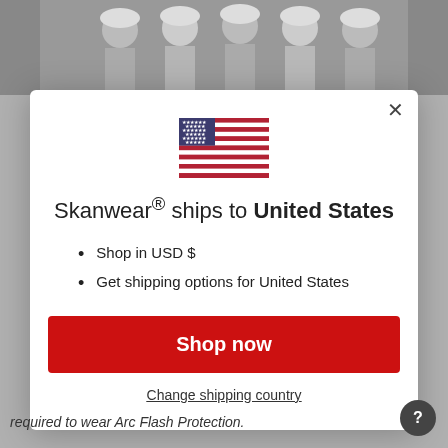[Figure (screenshot): Background showing workers in hard hats in an industrial setting, partially obscured by modal overlay]
[Figure (illustration): US flag emoji/icon centered in the modal]
Skanwear® ships to United States
Shop in USD $
Get shipping options for United States
Shop now
Change shipping country
required to wear Arc Flash Protection.